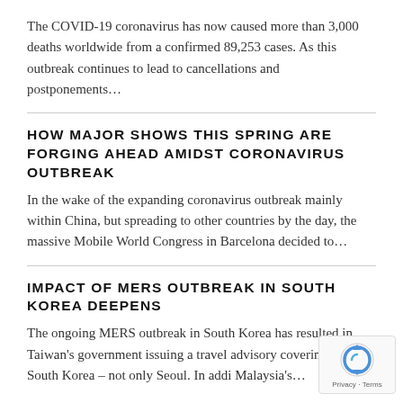The COVID-19 coronavirus has now caused more than 3,000 deaths worldwide from a confirmed 89,253 cases. As this outbreak continues to lead to cancellations and postponements…
HOW MAJOR SHOWS THIS SPRING ARE FORGING AHEAD AMIDST CORONAVIRUS OUTBREAK
In the wake of the expanding coronavirus outbreak mainly within China, but spreading to other countries by the day, the massive Mobile World Congress in Barcelona decided to…
IMPACT OF MERS OUTBREAK IN SOUTH KOREA DEEPENS
The ongoing MERS outbreak in South Korea has resulted in Taiwan's government issuing a travel advisory covering all of South Korea – not only Seoul. In addi Malaysia's…